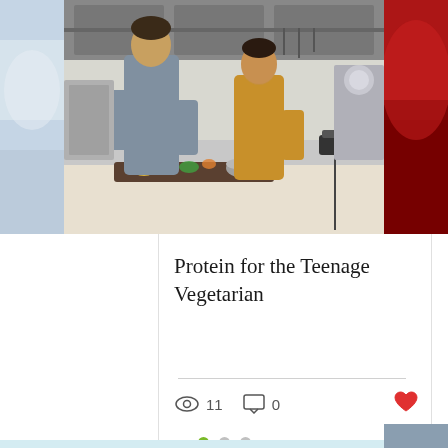[Figure (photo): Two people cooking together in a modern kitchen, one in grey sweater and one in yellow/mustard top, with vegetables and cooking equipment on counter. Partially visible images on left and right sides.]
Protein for the Teenage Vegetarian
11 views  0 comments  Like post
[Figure (infographic): Carousel navigation dots: one green filled dot and two grey dots]
Terms of Use
Privacy Policy